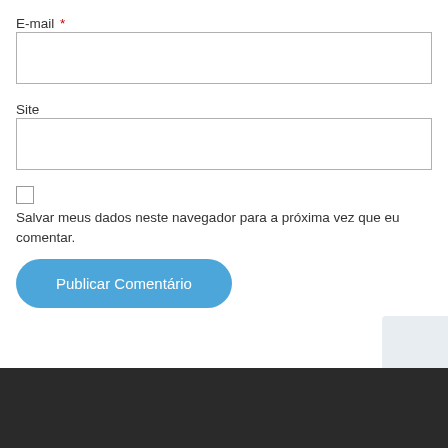E-mail *
Site
Salvar meus dados neste navegador para a próxima vez que eu comentar.
Publicar Comentário